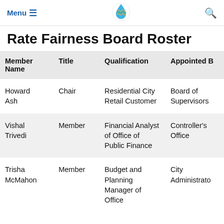Menu ☰   [logo]   🔍
Rate Fairness Board Roster
| Member Name | Title | Qualification | Appointed B[y] |
| --- | --- | --- | --- |
| Howard Ash | Chair | Residential City Retail Customer | Board of Supervisors |
| Vishal Trivedi | Member | Financial Analyst of Office of Public Finance | Controller's Office |
| Trisha McMahon | Member | Budget and Planning Manager of Office... | City Administrato[r] |